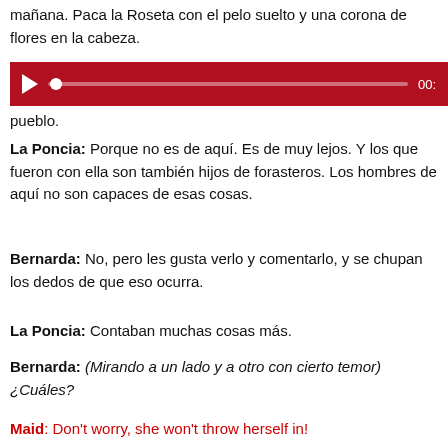mañana. Paca la Roseta con el pelo suelto y una corona de flores en la cabeza.
[Figure (screenshot): Red audio media player bar with play button, progress track, and time display showing 00:]
pueblo.
La Poncia: Porque no es de aquí. Es de muy lejos. Y los que fueron con ella son también hijos de forasteros. Los hombres de aquí no son capaces de esas cosas.
Bernarda: No, pero les gusta verlo y comentarlo, y se chupan los dedos de que eso ocurra.
La Poncia: Contaban muchas cosas más.
Bernarda: (Mirando a un lado y a otro con cierto temor) ¿Cuáles?
Maid: Don't worry, she won't throw herself in!